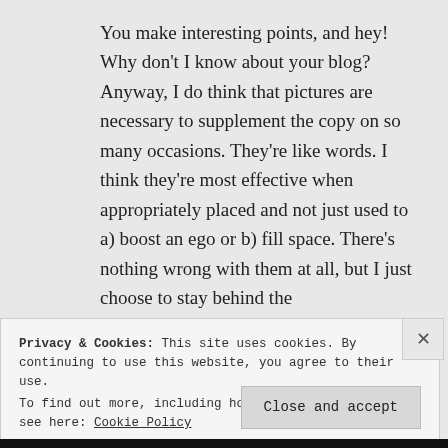You make interesting points, and hey! Why don't I know about your blog? Anyway, I do think that pictures are necessary to supplement the copy on so many occasions. They're like words. I think they're most effective when appropriately placed and not just used to a) boost an ego or b) fill space. There's nothing wrong with them at all, but I just choose to stay behind the
Privacy & Cookies: This site uses cookies. By continuing to use this website, you agree to their use.
To find out more, including how to control cookies, see here: Cookie Policy
Close and accept